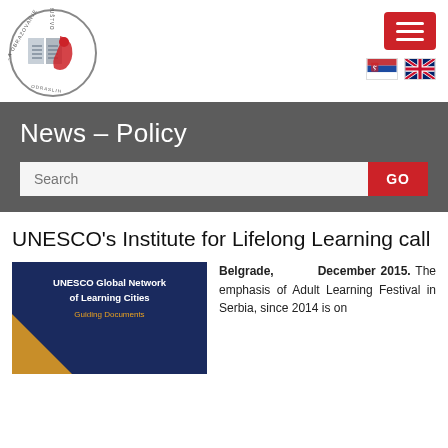[Figure (logo): Circular logo for Društvo za obrazovanje odraslih (Adult Education Society) featuring an open book and a face profile in red and gray.]
[Figure (other): Red hamburger menu button with three white horizontal lines.]
[Figure (other): Serbian and UK flags for language selection.]
News – Policy
[Figure (screenshot): Search bar with placeholder text 'Search' and a red GO button.]
UNESCO's Institute for Lifelong Learning call
[Figure (photo): Dark blue book cover for UNESCO Global Network of Learning Cities – Guiding Documents, with a yellow geometric shape at the bottom left.]
Belgrade, December 2015. The emphasis of Adult Learning Festival in Serbia, since 2014 is on